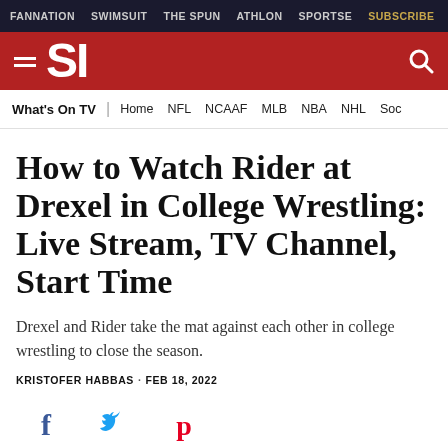FANNATION   SWIMSUIT   THE SPUN   ATHLОН   SPORTSE   SUBSCRIBE
[Figure (logo): Sports Illustrated (SI) logo on red background with hamburger menu icon and search icon]
What's On TV | Home NFL NCAAF MLB NBA NHL Soc
How to Watch Rider at Drexel in College Wrestling: Live Stream, TV Channel, Start Time
Drexel and Rider take the mat against each other in college wrestling to close the season.
KRISTOFER HABBAS · FEB 18, 2022
[Figure (illustration): Social sharing icons: Facebook (f), Twitter (bird), Pinterest (P)]